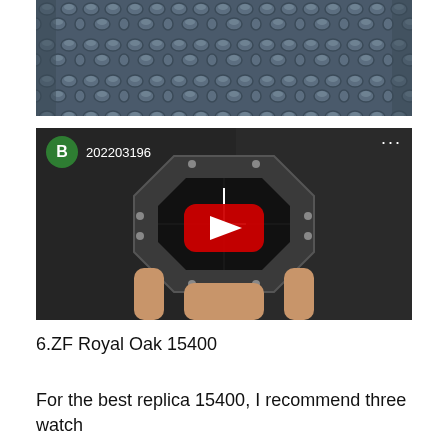[Figure (photo): Close-up photo of dark blue/grey crocodile or alligator leather texture showing scale pattern]
[Figure (screenshot): YouTube video thumbnail showing a hand holding an Audemars Piguet Royal Oak watch with a red YouTube play button overlay. User avatar is a green circle with letter B and username 202203196 shown in the top-left corner.]
6.ZF Royal Oak 15400
For the best replica 15400, I recommend three watch